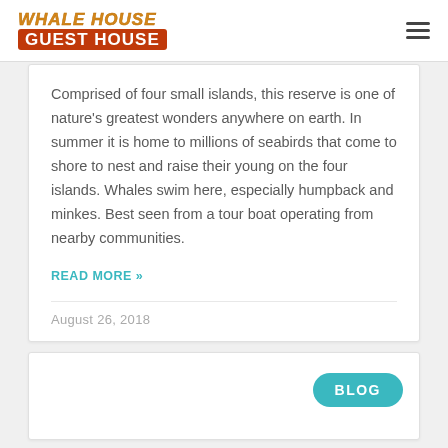WHALE HOUSE GUEST HOUSE
Comprised of four small islands, this reserve is one of nature's greatest wonders anywhere on earth. In summer it is home to millions of seabirds that come to shore to nest and raise their young on the four islands. Whales swim here, especially humpback and minkes. Best seen from a tour boat operating from nearby communities.
READ MORE »
August 26, 2018
BLOG